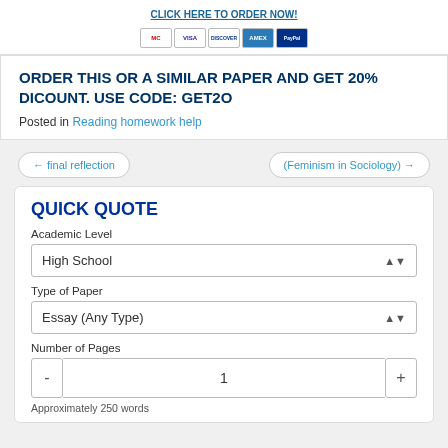[Figure (other): Click here to order now button with payment icons (Visa, Mastercard, Discover, Amex, PayPal)]
ORDER THIS OR A SIMILAR PAPER AND GET 20% DICOUNT. USE CODE: GET2O
Posted in Reading homework help
← final reflection
(Feminism in Sociology) →
QUICK QUOTE
Academic Level
High School
Type of Paper
Essay (Any Type)
Number of Pages
1
Approximately 250 words